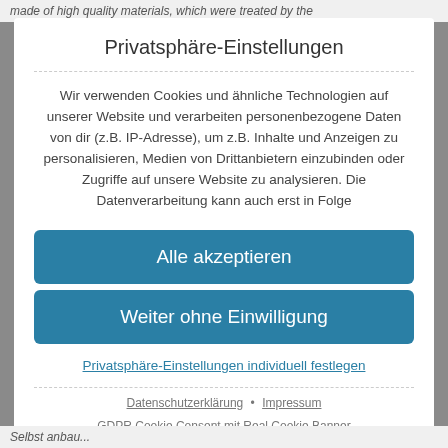made of high quality materials, which were treated by the
Privatsphäre-Einstellungen
Wir verwenden Cookies und ähnliche Technologien auf unserer Website und verarbeiten personenbezogene Daten von dir (z.B. IP-Adresse), um z.B. Inhalte und Anzeigen zu personalisieren, Medien von Drittanbietern einzubinden oder Zugriffe auf unsere Website zu analysieren. Die Datenverarbeitung kann auch erst in Folge
Alle akzeptieren
Weiter ohne Einwilligung
Privatsphäre-Einstellungen individuell festlegen
Datenschutzerklärung • Impressum
GDPR Cookie Consent mit Real Cookie Banner
Selbst anbau...